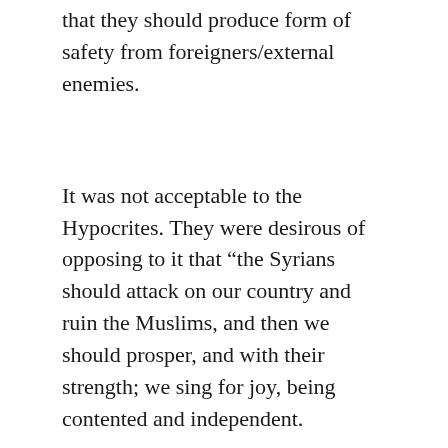that they should produce form of safety from foreigners/external enemies.
It was not acceptable to the Hypocrites. They were desirous of opposing to it that “the Syrians should attack on our country and ruin the Muslims, and then we should prosper, and with their strength; we sing for joy, being contented and independent.
At that time, Islam produced such a treatment for those Hypocrites, which is not only being accepted, nowadays, but being followed by the whole world. Such treatment was that the